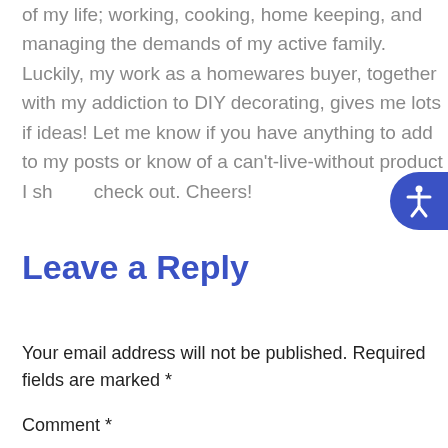of my life; working, cooking, home keeping, and managing the demands of my active family. Luckily, my work as a homewares buyer, together with my addiction to DIY decorating, gives me lots if ideas! Let me know if you have anything to add to my posts or know of a can't-live-without product I should check out. Cheers!
Leave a Reply
Your email address will not be published. Required fields are marked *
Comment *